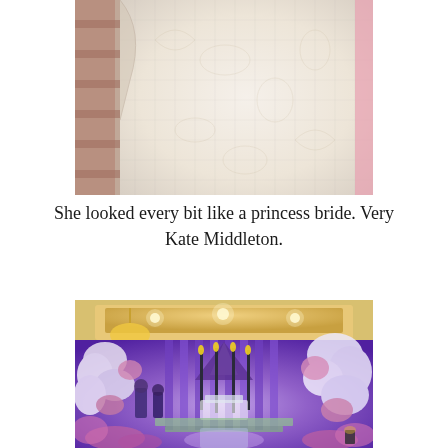[Figure (photo): Close-up photo of a white wedding dress with intricate lace and embroidery details]
She looked every bit like a princess bride. Very Kate Middleton.
[Figure (photo): Lavishly decorated wedding reception venue with purple lighting, white and pink floral arrangements, cherry blossom trees, and ornate stage setup]